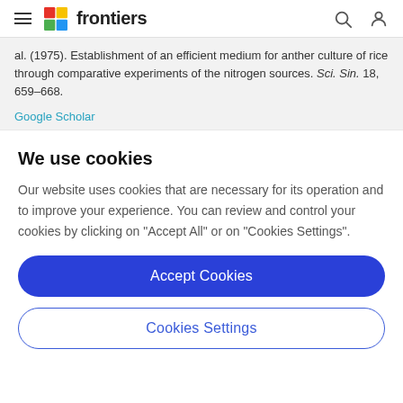frontiers
al. (1975). Establishment of an efficient medium for anther culture of rice through comparative experiments of the nitrogen sources. Sci. Sin. 18, 659–668.
Google Scholar
We use cookies
Our website uses cookies that are necessary for its operation and to improve your experience. You can review and control your cookies by clicking on "Accept All" or on "Cookies Settings".
Accept Cookies
Cookies Settings